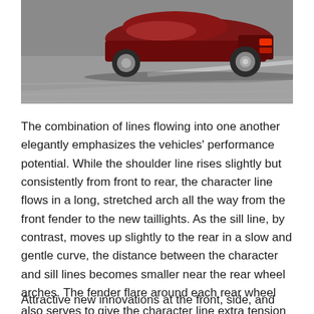[Figure (photo): Red sports car photographed from the rear quarter angle, driving on a road, motion blur visible on the background pavement.]
The combination of lines flowing into one another elegantly emphasizes the vehicles' performance potential. While the shoulder line rises slightly but consistently from front to rear, the character line flows in a long, stretched arch all the way from the front fender to the new taillights. As the sill line, by contrast, moves up slightly to the rear in a slow and gentle curve, the distance between the character and sill lines becomes smaller near the rear wheel arches. The fender flare around each rear wheel also serves to give the character line extra tension in both an upward and outward direction.
Attractive new innovations at the front, side, and rear –